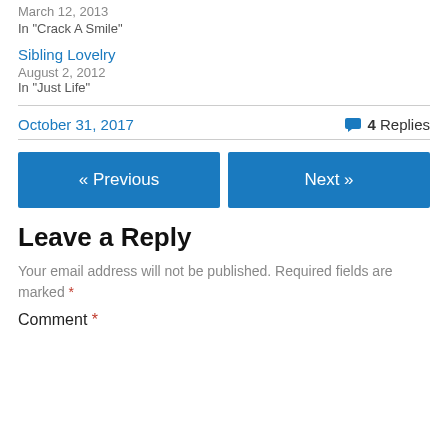March 12, 2013
In "Crack A Smile"
Sibling Lovelry
August 2, 2012
In "Just Life"
October 31, 2017
4 Replies
« Previous
Next »
Leave a Reply
Your email address will not be published. Required fields are marked *
Comment *